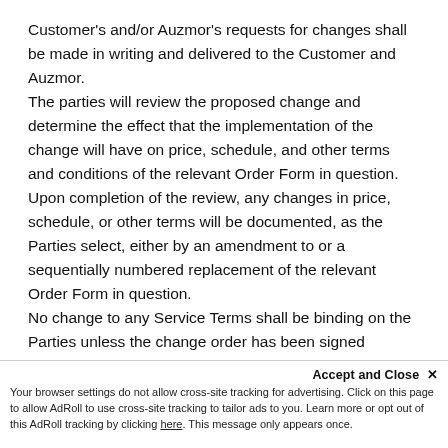Customer's and/or Auzmor's requests for changes shall be made in writing and delivered to the Customer and Auzmor. The parties will review the proposed change and determine the effect that the implementation of the change will have on price, schedule, and other terms and conditions of the relevant Order Form in question. Upon completion of the review, any changes in price, schedule, or other terms will be documented, as the Parties select, either by an amendment to or a sequentially numbered replacement of the relevant Order Form in question. No change to any Service Terms shall be binding on the Parties unless the change order has been signed
by authorized representatives of each Part...
Accept and Close ×
Your browser settings do not allow cross-site tracking for advertising. Click on this page to allow AdRoll to use cross-site tracking to tailor ads to you. Learn more or opt out of this AdRoll tracking by clicking here. This message only appears once.